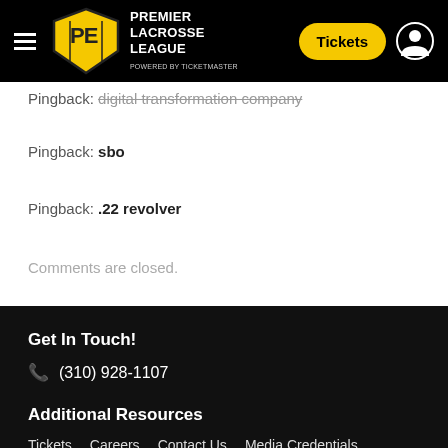[Figure (logo): Premier Lacrosse League logo with yellow shield badge and navigation header including Tickets button and user icon]
Pingback: digital transformation company
Pingback: sbo
Pingback: .22 revolver
Comments are closed.
Get In Touch!
(310) 928-1107
Additional Resources
Tickets   Careers   Contact Us   Media Credentials